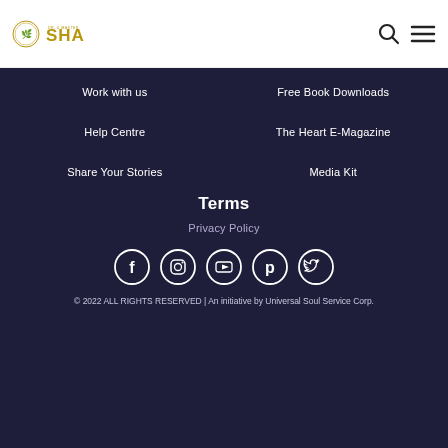[Figure (logo): Dr. & Master SHA logo in gold/olive color with circular emblem on left and large SHA text]
Work with us
Free Book Downloads
Help Centre
The Heart E-Magazine
Share Your Stories
Media Kit
Terms
Privacy Policy
[Figure (infographic): Row of 5 social media icons in white circles on dark background: Facebook, Instagram, YouTube, Pinterest, Twitter]
© 2022 ALL RIGHTS RESERVED | An initiative by Universal Soul Service Corp.